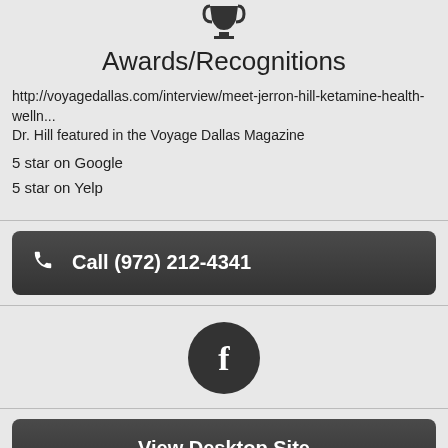[Figure (illustration): Trophy/award icon in black]
Awards/Recognitions
http://voyagedallas.com/interview/meet-jerron-hill-ketamine-health-welln...
Dr. Hill featured in the Voyage Dallas Magazine
5 star on Google
5 star on Yelp
Call (972) 212-4341
[Figure (logo): Facebook logo circle button in dark gray]
View Desktop Site